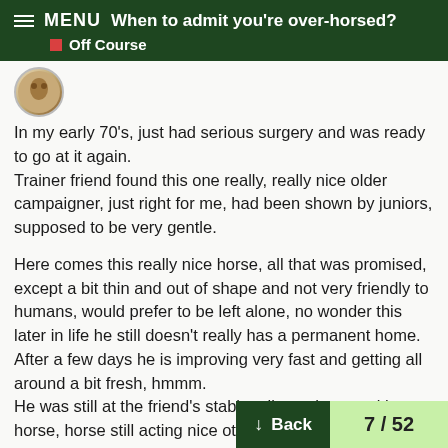When to admit you're over-horsed? | Off Course
In my early 70's, just had serious surgery and was ready to go at it again.
Trainer friend found this one really, really nice older campaigner, just right for me, had been shown by juniors, supposed to be very gentle.
Here comes this really nice horse, all that was promised, except a bit thin and out of shape and not very friendly to humans, would prefer to be left alone, no wonder this later in life he still doesn't really has a permanent home.
After a few days he is improving very fast and getting all around a bit fresh, hmmm.
He was still at the friend's stable, all very happy with horse, horse still acting nice other than getting a little bit "on the muscle", showing to be more horse than a quie
I drive the 1 1/2 hour to get there and fall anyway, he really is what I like.